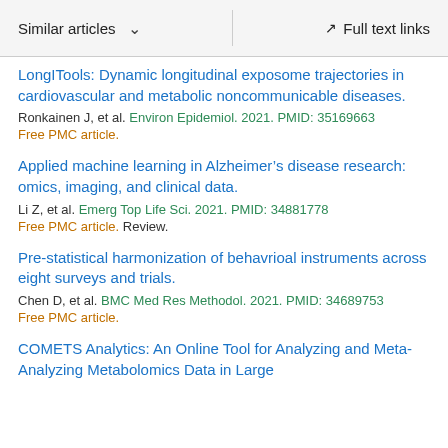Similar articles  ∨   Full text links
LongITools: Dynamic longitudinal exposome trajectories in cardiovascular and metabolic noncommunicable diseases.
Ronkainen J, et al. Environ Epidemiol. 2021. PMID: 35169663
Free PMC article.
Applied machine learning in Alzheimer's disease research: omics, imaging, and clinical data.
Li Z, et al. Emerg Top Life Sci. 2021. PMID: 34881778
Free PMC article. Review.
Pre-statistical harmonization of behavrioal instruments across eight surveys and trials.
Chen D, et al. BMC Med Res Methodol. 2021. PMID: 34689753
Free PMC article.
COMETS Analytics: An Online Tool for Analyzing and Meta-Analyzing Metabolomics Data in Large